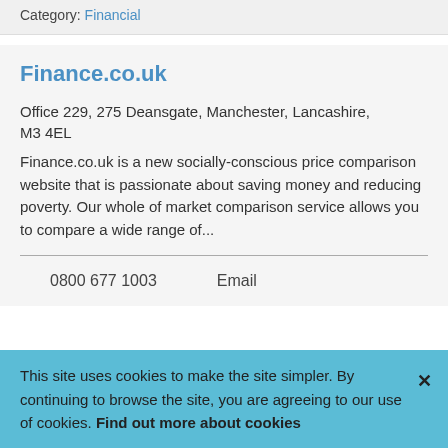Category: Financial
Finance.co.uk
Office 229, 275 Deansgate, Manchester, Lancashire, M3 4EL
Finance.co.uk is a new socially-conscious price comparison website that is passionate about saving money and reducing poverty. Our whole of market comparison service allows you to compare a wide range of...
0800 677 1003   Email
This site uses cookies to make the site simpler. By continuing to browse the site, you are agreeing to our use of cookies. Find out more about cookies